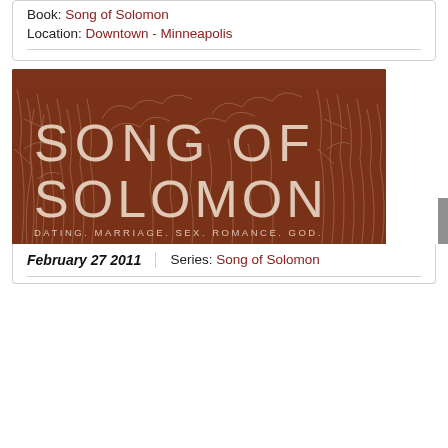Book: Song of Solomon
Location: Downtown - Minneapolis
[Figure (illustration): Book series promotional image with brown/rust background and white botanical illustration overlaid. Large white text reads 'SONG OF SOLOMON' with subtitle 'DATING. MARRIAGE. SEX. ROMANCE. GOD.']
February 27 2011
Series: Song of Solomon